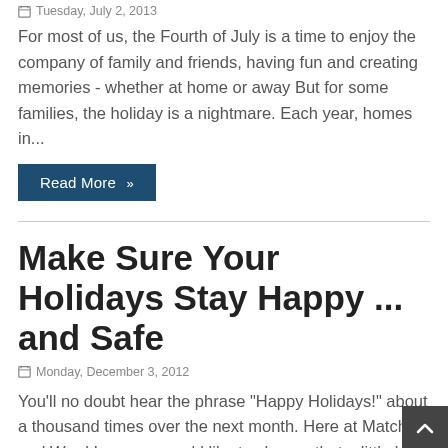Tuesday, July 2, 2013
For most of us, the Fourth of July is a time to enjoy the company of family and friends, having fun and creating memories - whether at home or away But for some families, the holiday is a nightmare. Each year, homes in...
Read More »
Make Sure Your Holidays Stay Happy ... and Safe
Monday, December 3, 2012
You'll no doubt hear the phrase "Happy Holidays!" about a thousand times over the next month. Here at Matchett and Ward Insurance we'd like to change that a little bit: "Happy - and Safe - Holidays!" While the holidays...